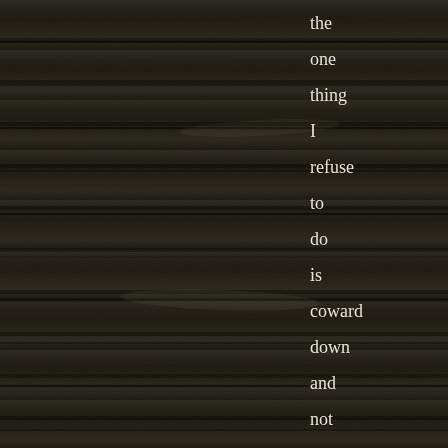[Figure (photo): Dark wooden plank background with horizontal grain lines and texture, weathered dark brown/black wood]
the one thing I refuse to do is coward down and not say what I believe. I wrote the